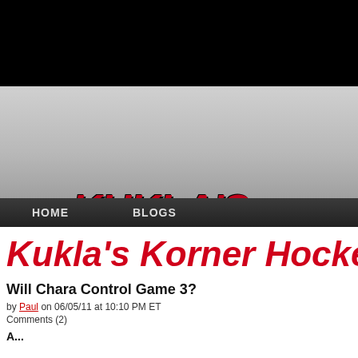[Figure (logo): Kukla's Korner hockey blog logo with a hockey puck graphic on the left and bold italic text 'KUKLA'S KORNER' in red and black on a silver/grey gradient background]
HOME    BLOGS
Kukla's Korner Hocke
Will Chara Control Game 3?
by Paul on 06/05/11 at 10:10 PM ET
Comments (2)
A...